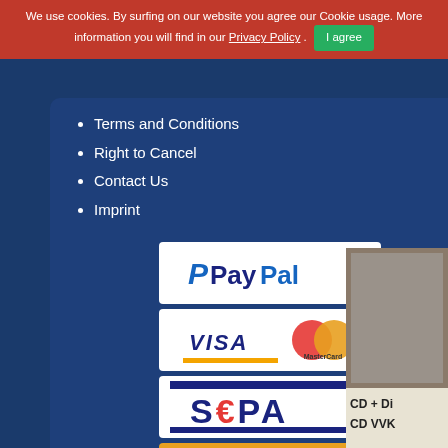We use cookies. By surfing on our website you agree our Cookie usage. More information you will find in our Privacy Policy . I agree
Terms and Conditions
Right to Cancel
Contact Us
Imprint
[Figure (logo): PayPal payment logo]
[Figure (logo): Visa and MasterCard payment logos]
[Figure (logo): SEPA payment logo]
[Figure (logo): Sofort Überweisung payment logo]
[Figure (logo): Nachnahme - Zahlung bei Lieferung payment logo]
[Figure (photo): Product thumbnail showing CD + Di... CD VVK...]